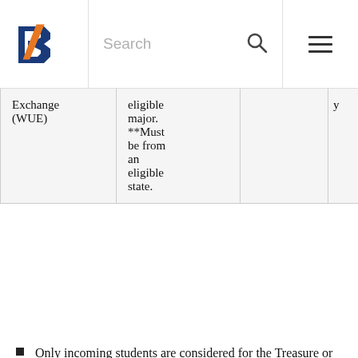Search
| Exchange (WUE) | eligible major. **Must be from an eligible state. |  | y |
Only incoming students are considered for the Treasure or Western Undergraduate Exchange (WUE, pronounced “woo-ee”) Scholarships. Consideration is based on admissions materials received by the scholarship deadline. A complete application